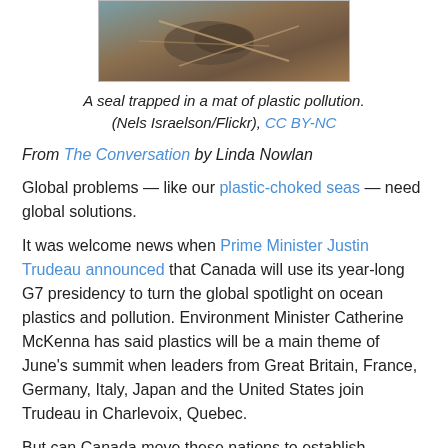[Figure (photo): A seal trapped in a mat of plastic pollution, visible from above with ropes or netting.]
A seal trapped in a mat of plastic pollution. (Nels Israelson/Flickr), CC BY-NC
From The Conversation by Linda Nowlan
Global problems — like our plastic-choked seas — need global solutions.
It was welcome news when Prime Minister Justin Trudeau announced that Canada will use its year-long G7 presidency to turn the global spotlight on ocean plastics and pollution. Environment Minister Catherine McKenna has said plastics will be a main theme of June's summit when leaders from Great Britain, France, Germany, Italy, Japan and the United States join Trudeau in Charlevoix, Quebec.
But can Canada move these nations to establish enforceable rules?
The G7 has raised the plastics issue before.